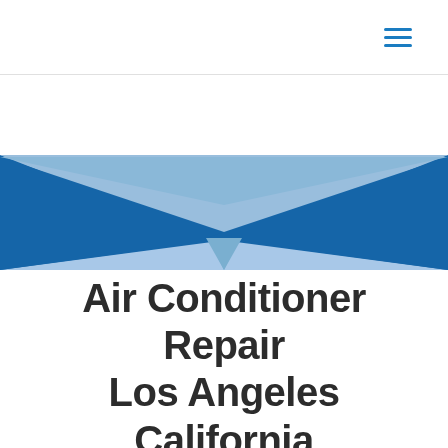[Figure (illustration): Decorative geometric banner with overlapping triangular blue shapes forming an X or bowtie pattern. Left and right triangles in medium blue, center overlapping area in lighter blue, on a white background.]
Air Conditioner Repair Los Angeles California